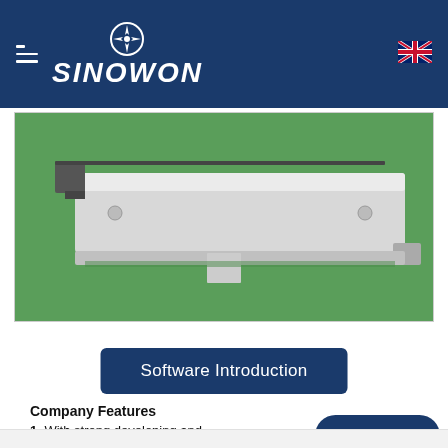SINOWON
[Figure (photo): Close-up photo of a precision measuring instrument or hardness tester component — a metallic silver/aluminum bar with mounting brackets, shown on a green surface]
Software Introduction
Company Features
1. With strong developing and manufacturing abilities of test meters